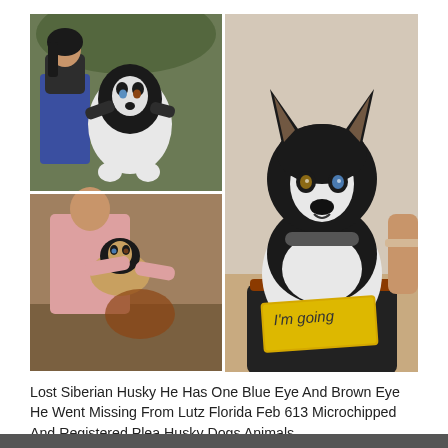[Figure (photo): Three-photo collage of a Siberian Husky: top-left shows a woman crouching outdoors kissing/nuzzling a black-and-white husky; bottom-left shows a person holding a small husky puppy on a couch; right (large) shows the husky sitting in a bag with a yellow sign around its neck reading 'I'm going'.]
Lost Siberian Husky He Has One Blue Eye And Brown Eye He Went Missing From Lutz Florida Feb 613 Microchipped And Registered Plea Husky Dogs Animals